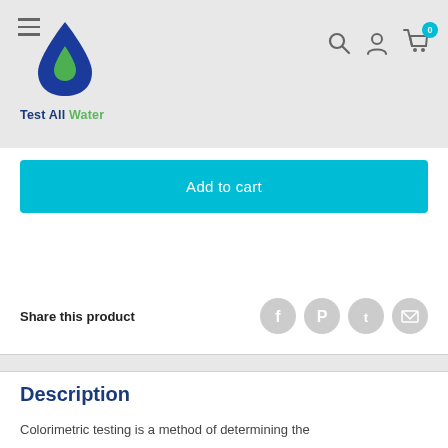[Figure (logo): Test All Water logo with blue water drop shape and green inner drop, text reads 'Test All Water' in blue and green]
Add to cart
Share this product
Description
Colorimetric testing is a method of determining the